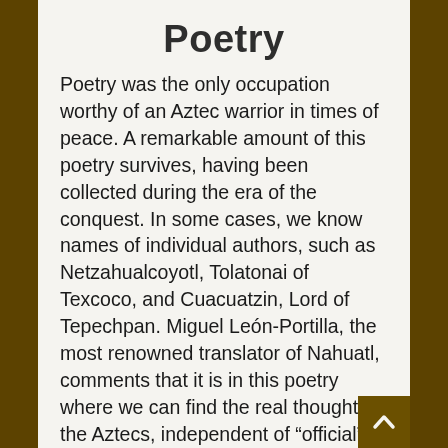Poetry
Poetry was the only occupation worthy of an Aztec warrior in times of peace. A remarkable amount of this poetry survives, having been collected during the era of the conquest. In some cases, we know names of individual authors, such as Netzahualcoyotl, Tolatonai of Texcoco, and Cuacuatzin, Lord of Tepechpan. Miguel León-Portilla, the most renowned translator of Nahuatl, comments that it is in this poetry where we can find the real thought of the Aztecs, independent of “official” Aztec ideology.
In the basement of the Templo Mayor there was the “house of the eagles,” where in peacetime Aztec captains could drink foaming chocolate, smoke good cigars, and have poetry contests. The poetry was accompanied by percussion